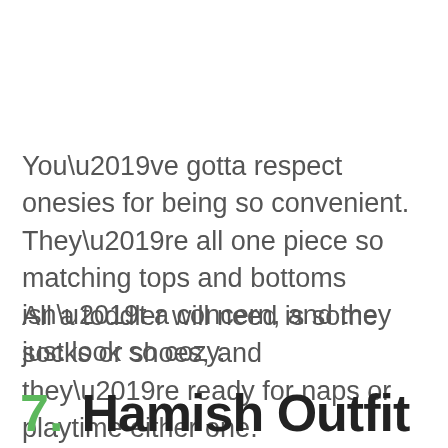You’ve gotta respect onesies for being so convenient. They’re all one piece so matching tops and bottoms isn’t a concern, and they just look so cozy.
All a toddler will need is some socks or shoes, and they’re ready for naps or playtime either one.
7. Hamish Outfit